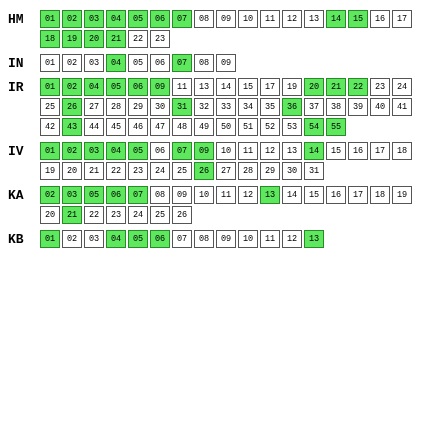HM: 01(green) 02(green) 03(green) 04(green) 05(green) 06(green) 07(green) 08(white) 09(white) 10(white) 11(white) 12(white) 13(white) 14(green) 15(green) 16(white) 17(white) 18(green) 19(green) 20(green) 21(green) 22(white) 23(white)
IN: 01(white) 02(white) 03(white) 04(green) 05(white) 06(white) 07(green) 08(white) 09(white)
IR: 01(green) 02(green) 04(green) 05(green) 06(green) 09(green) 11(white) 13(white) 14(white) 15(white) 17(white) 19(white) 20(green) 21(green) 22(green) 23(white) 24(white) 25(white) 26(green) 27(white) 28(white) 29(white) 30(white) 31(green) 32(white) 33(white) 34(white) 35(white) 36(green) 37(white) 38(white) 39(white) 40(white) 41(white) 42(white) 43(green) 44(white) 45(white) 46(white) 47(white) 48(white) 49(white) 50(white) 51(white) 52(white) 53(white) 54(green) 55(green)
IV: 01(green) 02(green) 03(green) 04(green) 05(green) 06(white) 07(green) 09(green) 10(white) 11(white) 12(white) 13(white) 14(green) 15(white) 16(white) 17(white) 18(white) 19(white) 20(white) 21(white) 22(white) 23(white) 24(white) 25(white) 26(green) 27(white) 28(white) 29(white) 30(white) 31(white)
KA: 02(green) 03(green) 05(green) 06(green) 07(green) 08(white) 09(white) 10(white) 11(white) 12(white) 13(green) 14(white) 15(white) 16(white) 17(white) 18(white) 19(white) 20(white) 21(green) 22(white) 23(white) 24(white) 25(white) 26(white)
KB: 01(green) 02(white) 03(white) 04(green) 05(green) 06(green) 07(white) 08(white) 09(white) 10(white) 11(white) 12(white) 13(green)